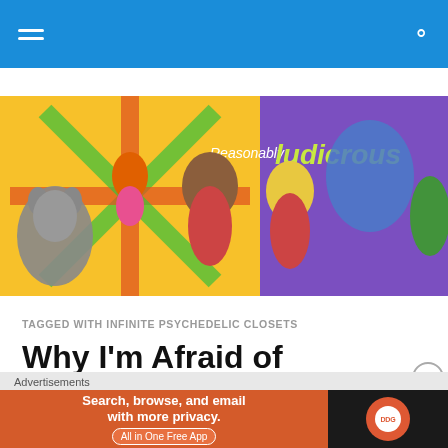Navigation bar with hamburger menu and search icon
[Figure (illustration): Reasonably Ludicrous banner with cartoon characters on colorful background]
TAGGED WITH INFINITE PSYCHEDELIC CLOSETS
Why I'm Afraid of Sardines
This story is so spooOoOooky that we just had to post it on Halloweeeeen.
[Figure (screenshot): DuckDuckGo advertisement: Search, browse, and email with more privacy. All in One Free App.]